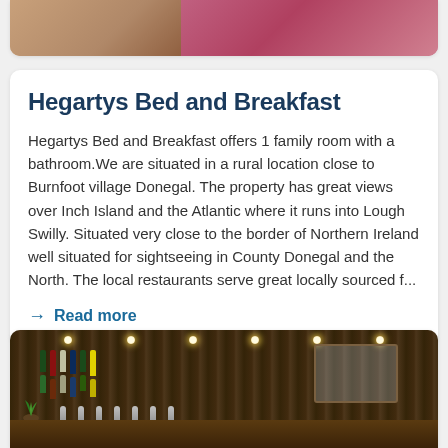[Figure (photo): Top portion of a bedroom image showing what appears to be bedding or furniture in warm brown and maroon/purple tones, cropped at the top of the page.]
Hegartys Bed and Breakfast
Hegartys Bed and Breakfast offers 1 family room with a bathroom.We are situated in a rural location close to Burnfoot village Donegal. The property has great views over Inch Island and the Atlantic where it runs into Lough Swilly. Situated very close to the border of Northern Ireland well situated for sightseeing in County Donegal and the North. The local restaurants serve great locally sourced f...
→ Read more
[Figure (photo): Interior of a pub/bar with wooden shelving displaying bottles, beer taps on a dark wooden counter, pendant lights, a mirror, and a plant on the left side.]